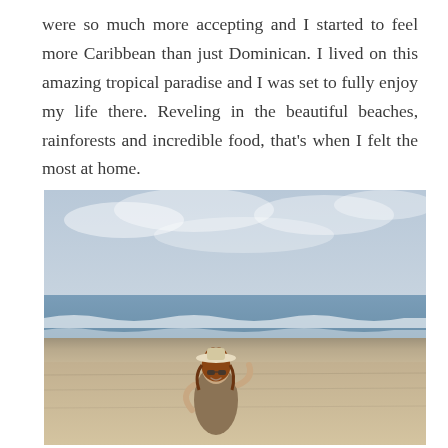were so much more accepting and I started to feel more Caribbean than just Dominican. I lived on this amazing tropical paradise and I was set to fully enjoy my life there. Reveling in the beautiful beaches, rainforests and incredible food, that's when I felt the most at home.
[Figure (photo): A woman wearing a hat and sunglasses stands smiling on a sandy beach with ocean waves and a cloudy sky behind her.]